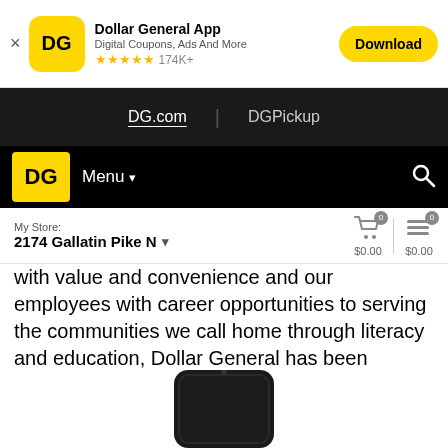[Figure (screenshot): Dollar General app banner with DG logo, app name, subtitle, star rating, and Download button]
DG.com | DGPickup
[Figure (logo): Dollar General DG logo yellow box with Menu and search icon navigation bar]
My Store: 2174 Gallatin Pike N
with value and convenience and our employees with career opportunities to serving the communities we call home through literacy and education, Dollar General has been committed to its mission of Serving Others since the company's founding in 1939.
[Figure (photo): Partial view of a smartphone at the bottom of the page]